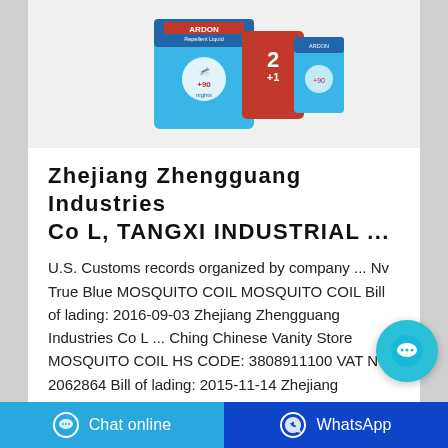[Figure (photo): Product image showing mosquito repellent liquid packaging with ARDON brand, blue and red boxes, '2+1' promotional packaging, '90 nights' claim]
Zhejiang Zhengguang Industries Co L, TANGXI INDUSTRIAL ...
U.S. Customs records organized by company ... Nv True Blue MOSQUITO COIL MOSQUITO COIL Bill of lading: 2016-09-03 Zhejiang Zhengguang Industries Co L ... Ching Chinese Vanity Store MOSQUITO COIL HS CODE: 3808911100 VAT NO: 2062864 Bill of lading: 2015-11-14 Zhejiang Zhengguang Industries Co L Ching Chinese Vanity Store
Contact the manufacturer
WhatsApp
Chat online    WhatsApp